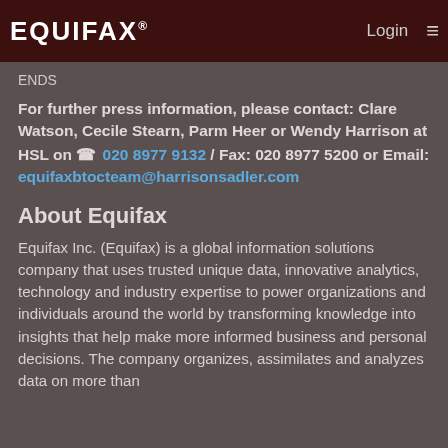EQUIFAX Login ≡
ENDS
For further press information, please contact: Clare Watson, Cecile Stearn, Parm Heer or Wendy Harrison at HSL on ☎ 020 8977 9132 / Fax: 020 8977 5200 or Email: equifaxbtocteam@harrisonsadler.com
About Equifax
Equifax Inc. (Equifax) is a global information solutions company that uses trusted unique data, innovative analytics, technology and industry expertise to power organizations and individuals around the world by transforming knowledge into insights that help make more informed business and personal decisions. The company organizes, assimilates and analyzes data on more than